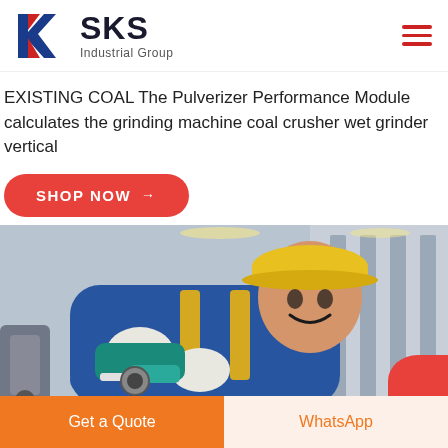[Figure (logo): SKS Industrial Group logo with red and blue K chevron icon and dark bold SKS text with subtitle Industrial Group]
EXISTING COAL The Pulverizer Performance Module calculates the grinding machine coal crusher wet grinder vertical
SHOP NOW →
[Figure (photo): Industrial worker in blue overalls and yellow hard hat using a power tool (angle grinder) in a factory setting]
Get a Quote
WhatsApp